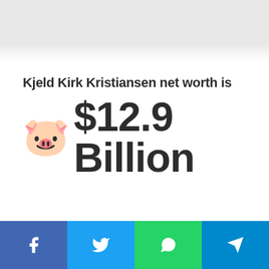[Figure (photo): Gray gradient header image area at top of page]
Kjeld Kirk Kristiansen net worth is
🐷 $12.9 Billion
[Figure (infographic): Social sharing bar with Facebook, Twitter, WhatsApp, and Telegram buttons]